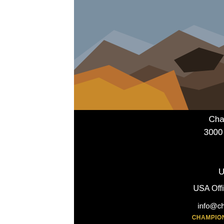[Figure (photo): Mountain landscape photo showing rocky peaks with snow patches, brown and dark rocky terrain, taken from an elevated viewpoint]
[Figure (photo): Underwater photo of a swimmer, visible on the right side of the page]
Champions Cardio
3000 El Camino Real
Palo Alto
CA 94306
United States
USA Office +1.424.253.0999
info@championscardio.com
CHAMPIONS CARDIO LLC. 2015-2